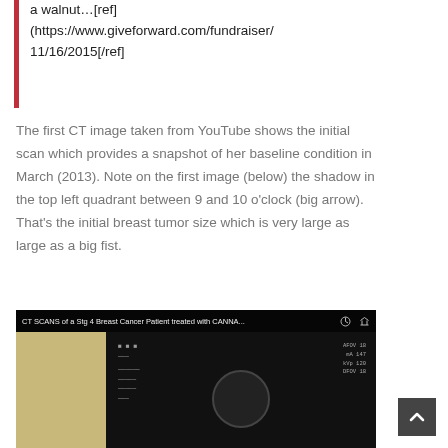a walnut…[ref] (https://www.giveforward.com/fundraiser/ 11/16/2015[/ref]
The first CT image taken from YouTube shows the initial scan which provides a snapshot of her baseline condition in March (2013). Note on the first image (below) the shadow in the top left quadrant between 9 and 10 o'clock (big arrow). That's the initial breast tumor size which is very large as large as a big fist.
[Figure (screenshot): YouTube video screenshot titled 'CT SCANS of a Stg 4 Breast Cancer Patient treated with CANNA...' showing a CT scan image with dark background and scan data overlays, with a circular CT scanner gantry visible at the bottom.]